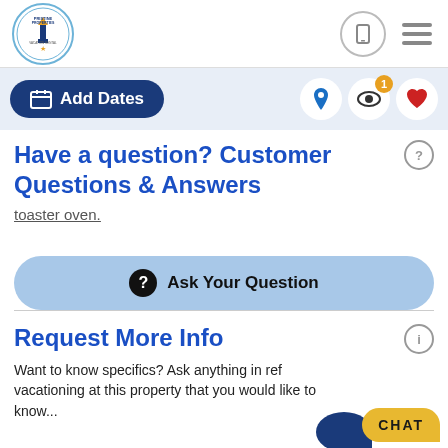[Figure (logo): Pristine Properties Vacation Rental logo — circular badge with lighthouse icon]
Add Dates
Have a question? Customer Questions & Answers
toaster oven.
Ask Your Question
Request More Info
Want to know specifics? Ask anything in reference to vacationing at this property that you would like to know...